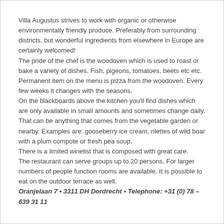Villa Augustus strives to work with organic or otherwise environmentally friendly produce. Preferably from surrounding districts, but wonderful ingredients from elsewhere in Europe are certainly welcomed! The pride of the chef is the woodoven which is used to roast or bake a variety of dishes. Fish, pigeons, tomatoes, beets etc etc. Permanent item on the menu is pizza from the woodoven. Every few weeks it changes with the seasons. On the blackboards above the kitchen you'll find dishes which are only available in small amounts and sometimes change daily. That can be anything that comes from the vegetable garden or nearby. Examples are: gooseberry ice cream, rilettes of wild boar with a plum compote or fresh pea soup. There is a limited winelist that is composed with great care.
The restaurant can serve groups up to 20 persons. For larger numbers of people function rooms are available. It is possible to eat on the outdoor terrace as well. Oranjelaan 7 • 3311 DH Dordrecht • Telephone: +31 (0) 78 – 639 31 11